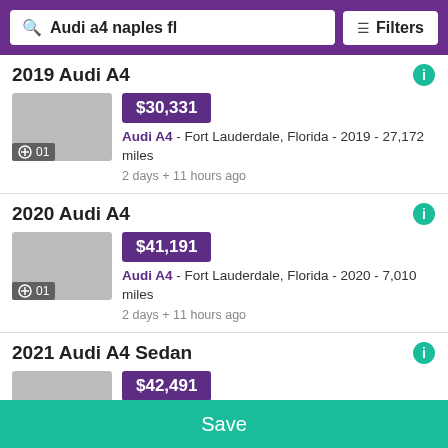Audi a4 naples fl | Filters
2019 Audi A4
$30,331 — Audi A4 - Fort Lauderdale, Florida - 2019 - 27,172 miles — 2 days + 11 hours ago
2020 Audi A4
$41,191 — Audi A4 - Fort Lauderdale, Florida - 2020 - 7,010 miles — 2 days + 11 hours ago
2021 Audi A4 Sedan
$42,491
Save